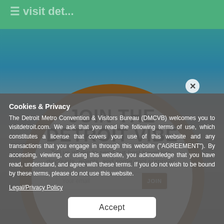[Figure (screenshot): Website background showing visitdetroit.com with green top bar and blurred content]
JOIN THE DETROIT VIBE
Tell us where to send our best travel tips, discounts, events, and some cool surprises.
Your email  JOIN
Cookies & Privacy
The Detroit Metro Convention & Visitors Bureau (DMCVB) welcomes you to visitdetroit.com. We ask that you read the following terms of use, which constitutes a license that covers your use of this website and any transactions that you engage in through this website (“AGREEMENT”). By accessing, viewing, or using this website, you acknowledge that you have read, understand, and agree with these terms. If you do not wish to be bound by these terms, please do not use this website.
Legal/Privacy Policy
Accept